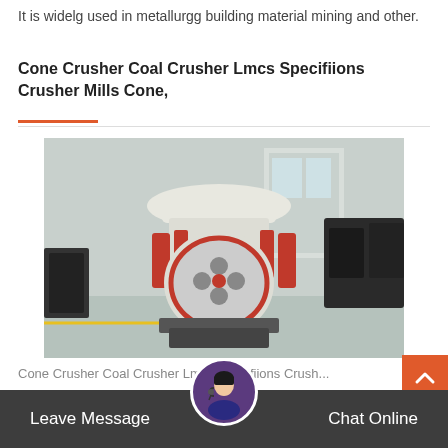It is widelg used in metallurgg building material mining and other.
Cone Crusher Coal Crusher Lmcs Specifiions Crusher Mills Cone,
[Figure (photo): Industrial cone crusher machine in a warehouse/factory setting. The machine is large, predominantly white and red with a circular base and multiple hydraulic cylinders. The background shows a factory floor with other equipment.]
Cone Crusher Coal Crusher Lmcs Specifiions Crush...
Leave Message
Chat Online